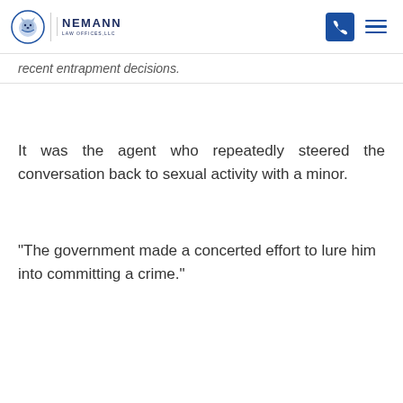Nemann Law Offices LLC
recent entrapment decisions.
It was the agent who repeatedly steered the conversation back to sexual activity with a minor.
"The government made a concerted effort to lure him into committing a crime."